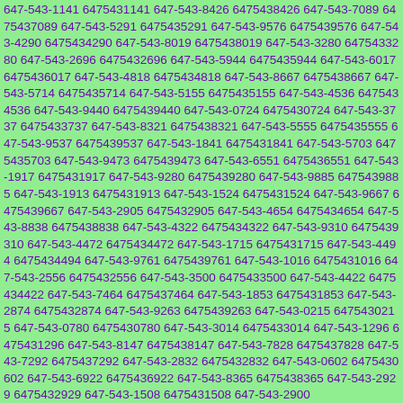647-543-1141 6475431141 647-543-8426 6475438426 647-543-7089 6475437089 647-543-5291 6475435291 647-543-9576 6475439576 647-543-4290 6475434290 647-543-8019 6475438019 647-543-3280 6475433280 647-543-2696 6475432696 647-543-5944 6475435944 647-543-6017 6475436017 647-543-4818 6475434818 647-543-8667 6475438667 647-543-5714 6475435714 647-543-5155 6475435155 647-543-4536 6475434536 647-543-9440 6475439440 647-543-0724 6475430724 647-543-3737 6475433737 647-543-8321 6475438321 647-543-5555 6475435555 647-543-9537 6475439537 647-543-1841 6475431841 647-543-5703 6475435703 647-543-9473 6475439473 647-543-6551 6475436551 647-543-1917 6475431917 647-543-9280 6475439280 647-543-9885 6475439885 647-543-1913 6475431913 647-543-1524 6475431524 647-543-9667 6475439667 647-543-2905 6475432905 647-543-4654 6475434654 647-543-8838 6475438838 647-543-4322 6475434322 647-543-9310 6475439310 647-543-4472 6475434472 647-543-1715 6475431715 647-543-4494 6475434494 647-543-9761 6475439761 647-543-1016 6475431016 647-543-2556 6475432556 647-543-3500 6475433500 647-543-4422 6475434422 647-543-7464 6475437464 647-543-1853 6475431853 647-543-2874 6475432874 647-543-9263 6475439263 647-543-0215 6475430215 647-543-0780 6475430780 647-543-3014 6475433014 647-543-1296 6475431296 647-543-8147 6475438147 647-543-7828 6475437828 647-543-7292 6475437292 647-543-2832 6475432832 647-543-0602 6475430602 647-543-6922 6475436922 647-543-8365 6475438365 647-543-2929 6475432929 647-543-1508 6475431508 647-543-2900